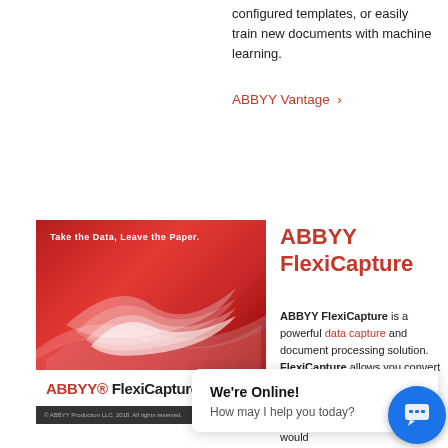configured templates, or easily train new documents with machine learning.
ABBYY Vantage >
[Figure (photo): ABBYY FlexiCapture product box image showing red and white wave design with tagline 'Take the Data. Leave the Paper.' and the ABBYY FlexiCapture logo below]
ABBYY FlexiCapture
ABBYY FlexiCapture is a powerful data capture and document processing solution. FlexiCapture allows you convert documents to formats. We would
We're Online! How may I help you today?